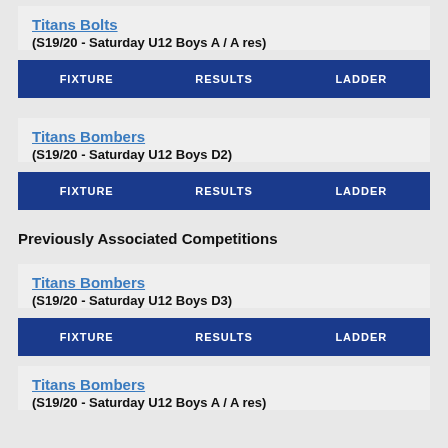Titans Bolts
(S19/20 - Saturday U12 Boys A / A res)
| FIXTURE | RESULTS | LADDER |
| --- | --- | --- |
Titans Bombers
(S19/20 - Saturday U12 Boys D2)
| FIXTURE | RESULTS | LADDER |
| --- | --- | --- |
Previously Associated Competitions
Titans Bombers
(S19/20 - Saturday U12 Boys D3)
| FIXTURE | RESULTS | LADDER |
| --- | --- | --- |
Titans Bombers
(S19/20 - Saturday U12 Boys A / A res)